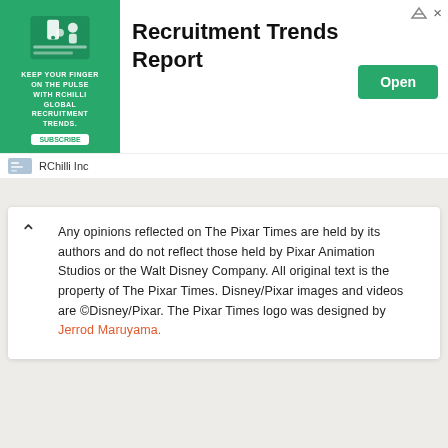[Figure (infographic): Advertisement banner for RChilli Inc showing 'Recruitment Trends Report' with a green ad image on the left, bold title text in the center, an 'Open' button in green, and navigation/close icons top right. Bottom bar shows 'RChilli Inc' sponsor name.]
Any opinions reflected on The Pixar Times are held by its authors and do not reflect those held by Pixar Animation Studios or the Walt Disney Company. All original text is the property of The Pixar Times. Disney/Pixar images and videos are ©Disney/Pixar. The Pixar Times logo was designed by Jerrod Maruyama.
[Figure (infographic): Red pill-shaped button with white bold text 'READ MORE' followed by text 'on Newz Online' to the right]